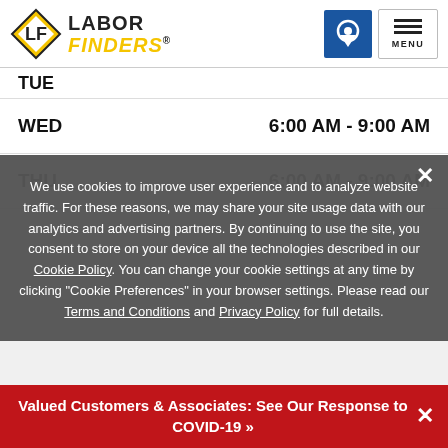Labor Finders — Header with logo, location icon, and MENU
| Day | Hours |
| --- | --- |
| TUE |  |
| WED | 6:00 AM - 9:00 AM |
| THU | 6:00 AM - 9:00 AM |
We use cookies to improve user experience and to analyze website traffic. For these reasons, we may share your site usage data with our analytics and advertising partners. By continuing to use the site, you consent to store on your device all the technologies described in our Cookie Policy. You can change your cookie settings at any time by clicking "Cookie Preferences" in your browser settings. Please read our Terms and Conditions and Privacy Policy for full details.
Valued Customers & Associates: See Our Response to COVID-19 »